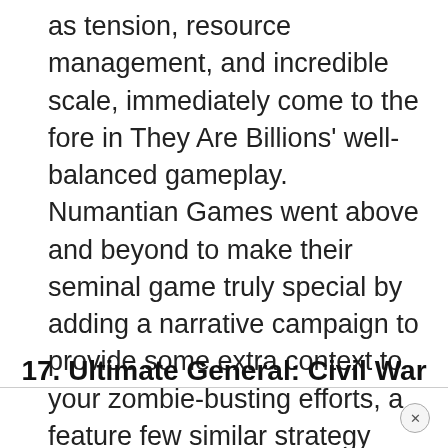as tension, resource management, and incredible scale, immediately come to the fore in They Are Billions' well-balanced gameplay. Numantian Games went above and beyond to make their seminal game truly special by adding a narrative campaign to provide some extra context to your zombie-busting efforts, a feature few similar strategy games have even tried to replicate.
17. Ultimate General: Civil War